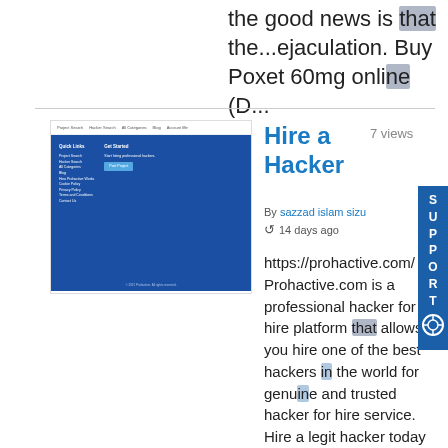the good news is that the...ejaculation. Buy Poxet 60mg online (D...
[Figure (screenshot): Screenshot of Prohactive.com website showing navigation menu and blue-background layout with Quick Links and Get Started columns]
Hire a Hacker
7 views
By sazzad islam sizu
14 days ago
https://prohactive.com/ Prohactive.com is a professional hacker for hire platform that allows you hire one of the best hackers in the world for genuine and trusted hacker for hire service. Hire a legit hacker today by visiting: